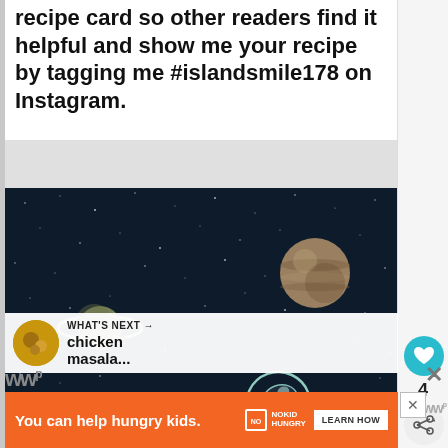recipe card so other readers find it helpful and show me your recipe by tagging me #islandsmile178 on Instagram.
[Figure (illustration): Dark space-themed illustration showing an astronaut floating in a dark starry background with Saturn-like ringed planet on the left and a striped planet (Jupiter-like) on the upper right. The astronaut is rendered in a sketch/outline teal/white style.]
WHAT'S NEXT → chicken masala...
4
You can help hungry kids.
[Figure (logo): NO KID HUNGRY logo with fork icon]
LEARN HOW